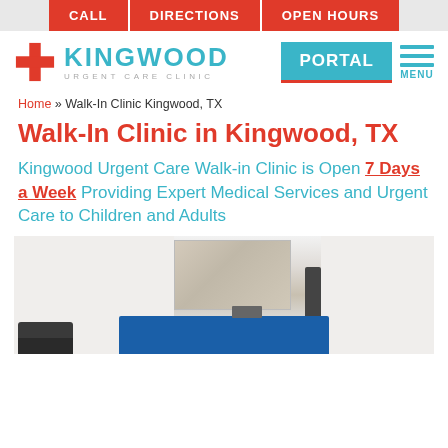CALL | DIRECTIONS | OPEN HOURS
[Figure (logo): Kingwood Urgent Care Clinic logo with red cross and teal text, plus PORTAL button and MENU icon]
Home » Walk-In Clinic Kingwood, TX
Walk-In Clinic in Kingwood, TX
Kingwood Urgent Care Walk-in Clinic is Open 7 Days a Week Providing Expert Medical Services and Urgent Care to Children and Adults
[Figure (photo): Interior photo of Kingwood Urgent Care Clinic showing reception desk with blue counter, textured wall panel behind, and waiting area chairs]